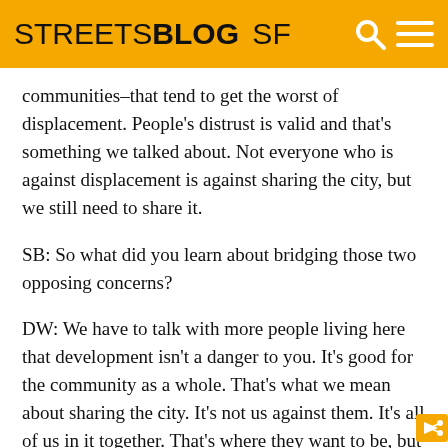STREETSBLOG SF
communities–that tend to get the worst of displacement. People's distrust is valid and that's something we talked about. Not everyone who is against displacement is against sharing the city, but we still need to share it.
SB: So what did you learn about bridging those two opposing concerns?
DW: We have to talk with more people living here that development isn't a danger to you. It's good for the community as a whole. That's what we mean about sharing the city. It's not us against them. It's all of us in it together. That's where they want to be, but they have to be shown that path. If you talk to people, most will say 'people should live where they want to